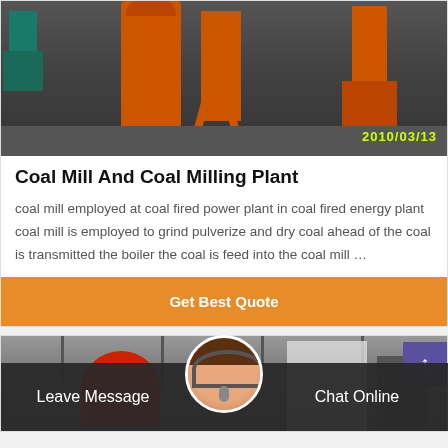[Figure (photo): Industrial coal mill machinery with orange equipment in a factory setting, date stamp 2010/03/13]
Coal Mill And Coal Milling Plant
coal mill employed at coal fired power plant in coal fired energy plant coal mill is employed to grind pulverize and dry coal ahead of the coal is transmitted the boiler the coal is feed into the coal mill …
Get Best Quote
[Figure (photo): Industrial shed interior with red machinery and hanging curtains]
Leave Message
Chat Online